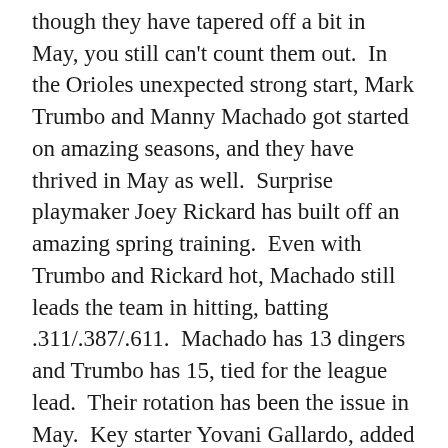though they have tapered off a bit in May, you still can't count them out. In the Orioles unexpected strong start, Mark Trumbo and Manny Machado got started on amazing seasons, and they have thrived in May as well. Surprise playmaker Joey Rickard has built off an amazing spring training. Even with Trumbo and Rickard hot, Machado still leads the team in hitting, batting .311/.387/.611. Machado has 13 dingers and Trumbo has 15, tied for the league lead. Their rotation has been the issue in May. Key starter Yovani Gallardo, added this off-season is hurt, making the rotation once again unstable. Chris Tillman has bounced back well, but they have struggled otherwise. However, in the end they have stayed competitive throughout the season and I believe they will